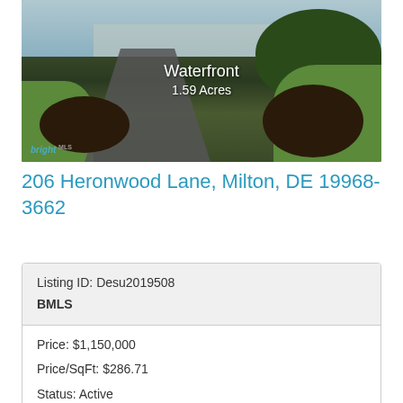[Figure (photo): Aerial/ground view of a driveway with green grass, mulched landscape beds, and trees. Overlaid text reads 'Waterfront' and '1.59 Acres'. Bright MLS logo in bottom-left corner.]
206 Heronwood Lane, Milton, DE 19968-3662
| Listing ID: Desu2019508 |
| BMLS |
| Price: $1,150,000 |
| Price/SqFt: $286.71 |
| Status: Active |
| Bedrooms: 4 |
| Total Baths: 4 |
| Full Baths: 2 |
| Partial Baths: 2 |